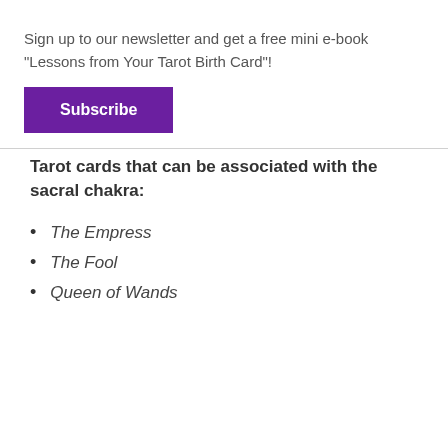Sign up to our newsletter and get a free mini e-book "Lessons from Your Tarot Birth Card"!
Subscribe
Tarot cards that can be associated with the sacral chakra:
The Empress
The Fool
Queen of Wands